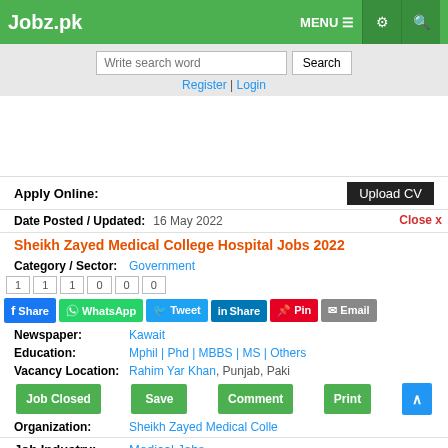Jobz.pk
Write search word | Search
Register | Login
Apply Online:  Upload CV
Date Posted / Updated:  16 May 2022  Close x
Sheikh Zayed Medical College Hospital Jobs 2022
Category / Sector:  Government
1  1  1  0  0  0
Newspaper:  Kawait
Education:  Mphil | Phd | MBBS | MS | Others
Vacancy Location:  Rahim Yar Khan, Punjab, Pakistan
Organization:  Sheikh Zayed Medical College
Job Industry:  Medical Jobs